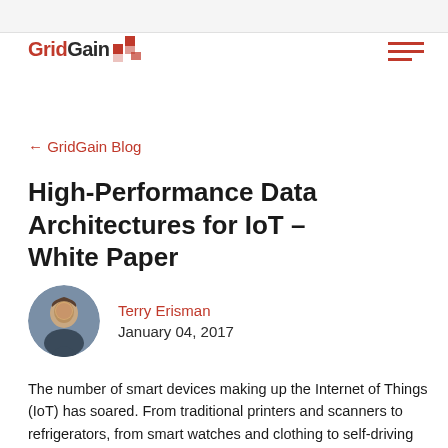[Figure (logo): GridGain logo with red grid icon and text]
← GridGain Blog
High-Performance Data Architectures for IoT – White Paper
[Figure (photo): Headshot of Terry Erisman, a man in business attire]
Terry Erisman
January 04, 2017
The number of smart devices making up the Internet of Things (IoT) has soared. From traditional printers and scanners to refrigerators, from smart watches and clothing to self-driving cars and drones, Gartner expects the IoT to include over 20 billion connected things by 2020. With all these connected devices transmitting information that needs to be analyzed,